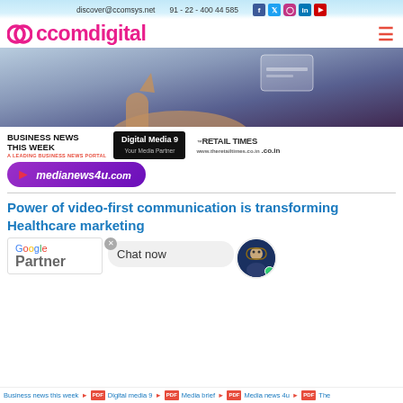discover@ccomsys.net   91 - 22 - 400 44 585
[Figure (logo): ccomdigital logo with circular pink icon and pink/magenta text]
[Figure (photo): Hero banner showing a hand pointing at a digital screen, dark purple/blue background]
BUSINESS NEWS THIS WEEK
A LEADING BUSINESS NEWS PORTAL
[Figure (logo): Digital Media 9 - Your Media Partner badge on black background]
[Figure (logo): The Retail Times logo]
[Figure (logo): medianews4u.com logo in purple with red arrow]
Power of video-first communication is transforming Healthcare marketing
[Figure (logo): Google Partner badge]
[Figure (screenshot): Chat now widget with avatar]
Business news this week  Digital media 9  Media brief  Media news 4u  The